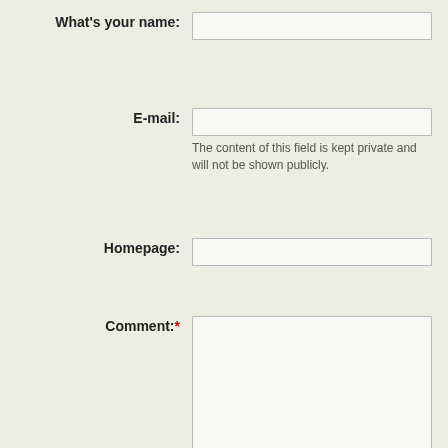What's your name:
E-mail:
The content of this field is kept private and will not be shown publicly.
Homepage:
Comment:*
Allowed HTML tags: <a> <h3> <h4> <em> <b> <span> <ul> <ol> <li> <blockquote> <embed> <param> <sub> <sup>